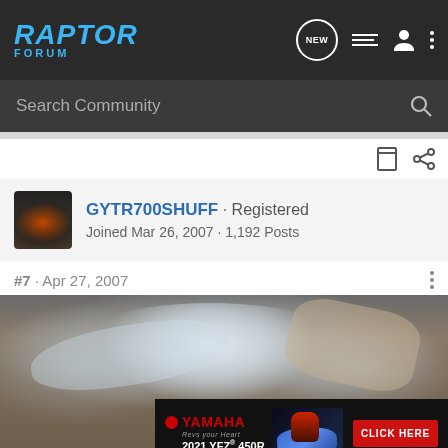RAPTOR FORUM
Search Community
GYTR700SHUFF · Registered
Joined Mar 26, 2007 · 1,192 Posts
#7 · Apr 27, 2007
[Figure (photo): ATV wrapped in plastic shrink wrap, viewed from above, inside a garage or workshop]
[Figure (infographic): Yamaha advertisement banner: 2021 YFZ 450R with CLICK HERE button]